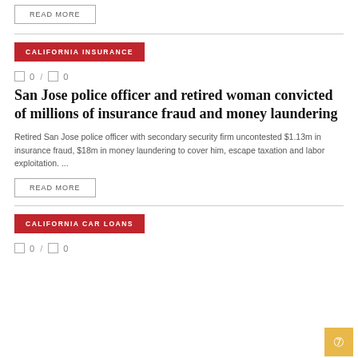READ MORE
CALIFORNIA INSURANCE
0 / 0
San Jose police officer and retired woman convicted of millions of insurance fraud and money laundering
Retired San Jose police officer with secondary security firm uncontested $1.13m in insurance fraud, $18m in money laundering to cover him, escape taxation and labor exploitation. ...
READ MORE
CALIFORNIA CAR LOANS
0 / 0